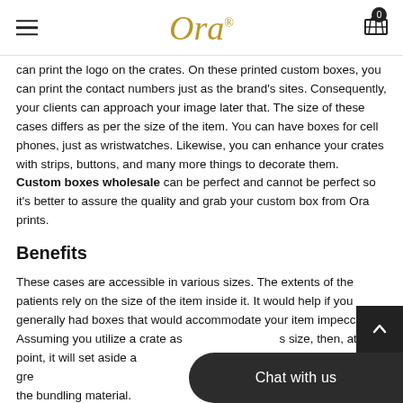Ora® — navigation header with hamburger menu and cart
can print the logo on the crates. On these printed custom boxes, you can print the contact numbers just as the brand's sites. Consequently, your clients can approach your image later that. The size of these cases differs as per the size of the item. You can have boxes for cell phones, just as wristwatches. Likewise, you can enhance your crates with strips, buttons, and many more things to decorate them. Custom boxes wholesale can be perfect and cannot be perfect so it's better to assure the quality and grab your custom box from Ora prints.
Benefits
These cases are accessible in various sizes. The extents of the patients rely on the size of the item inside it. It would help if you generally had boxes that would accommodate your item impeccably. Assuming you utilize a crate as [Chat with us] s size, then, at that point, it will set aside a gre[at deal by] diminishing the bundling material.